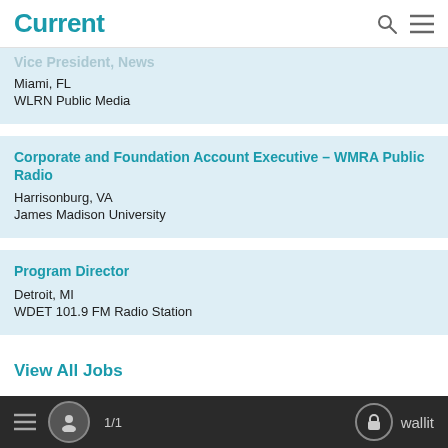Current
Vice President, News
Miami, FL
WLRN Public Media
Corporate and Foundation Account Executive – WMRA Public Radio
Harrisonburg, VA
James Madison University
Program Director
Detroit, MI
WDET 101.9 FM Radio Station
View All Jobs
1/1  wallit